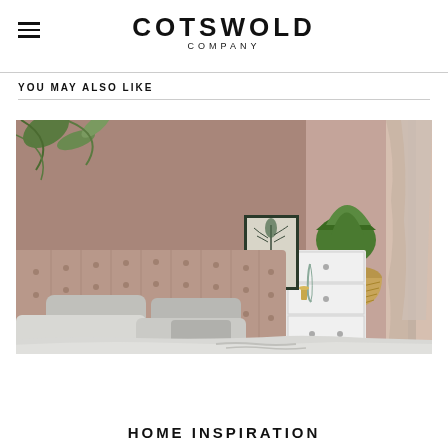COTSWOLD COMPANY
YOU MAY ALSO LIKE
[Figure (photo): Stylish bedroom with mauve/dusty pink walls, tufted upholstered headboard bed with grey pillows, white chest of drawers with wicker basket planter and tropical plant, botanical art print, and linen curtains.]
HOME INSPIRATION